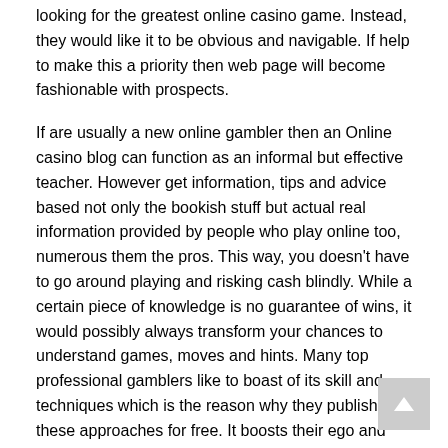looking for the greatest online casino game. Instead, they would like it to be obvious and navigable. If help to make this a priority then web page will become fashionable with prospects.
If are usually a new online gambler then an Online casino blog can function as an informal but effective teacher. However get information, tips and advice based not only the bookish stuff but actual real information provided by people who play online too, numerous them the pros. This way, you doesn't have to go around playing and risking cash blindly. While a certain piece of knowledge is no guarantee of wins, it would possibly always transform your chances to understand games, moves and hints. Many top professional gamblers like to boast of its skill and techniques which is the reason why they publish these approaches for free. It boosts their ego and also you can deceive this by picking up tips on the games an individual might be most all for.